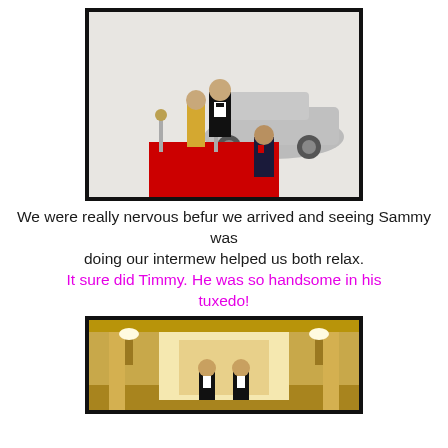[Figure (photo): Composite/humorous image of cats with human bodies dressed in formal attire on a red carpet in front of a silver car, with velvet ropes and one cat in a suit at the bottom.]
We were really nervous befur we arrived and seeing Sammy was
doing our intermew helped us both relax.
It sure did Timmy. He was so handsome in his tuxedo!
[Figure (photo): Composite/humorous image of cats in formal attire (suits and ties) in an ornate interior lobby setting with golden decor.]